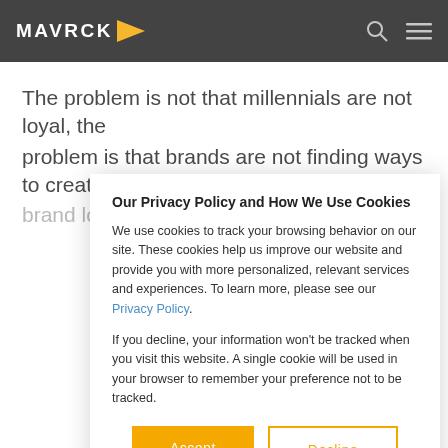MAVRCK
The problem is not that millennials are not loyal, the problem is that brands are not finding ways to create brand loyalty in the new generation. Millennials demand
Our Privacy Policy and How We Use Cookies
We use cookies to track your browsing behavior on our site. These cookies help us improve our website and provide you with more personalized, relevant services and experiences. To learn more, please see our Privacy Policy.
If you decline, your information won't be tracked when you visit this website. A single cookie will be used in your browser to remember your preference not to be tracked.
Accept
Decline